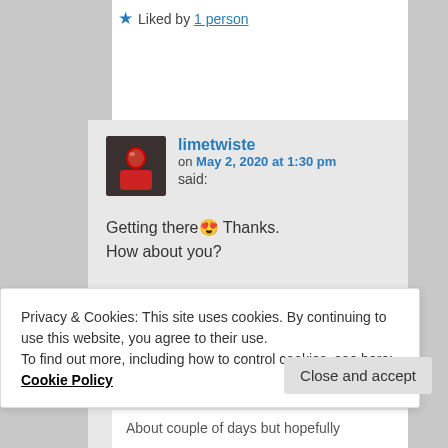★ Liked by 1 person
limetwiste
on May 2, 2020 at 1:30 pm
said:
Getting there 😊 Thanks.
How about you?
★ Liked by 1 person
Privacy & Cookies: This site uses cookies. By continuing to use this website, you agree to their use.
To find out more, including how to control cookies, see here: Cookie Policy
Close and accept
About couple of days but hopefully